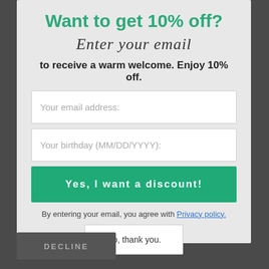Want to get 10% off?
Enter your email
to receive a warm welcome. Enjoy 10% off.
Your email address:
Your birthday (MM/DD/YYYY):
Yes, I want a discount!
By entering your email, you agree with Privacy policy.
No, thank you.
DECLINE